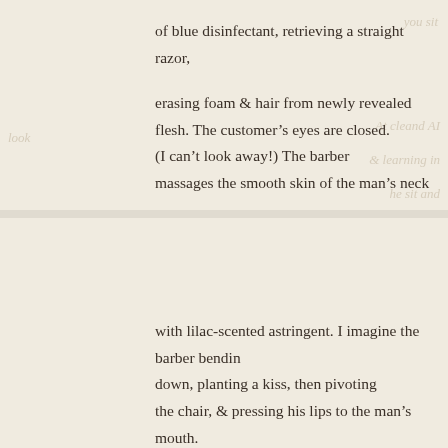of blue disinfectant, retrieving a straight razor,
erasing foam & hair from newly revealed flesh. The customer's eyes are closed. (I can't look away!) The barber massages the smooth skin of the man's neck
with lilac-scented astringent. I imagine the barber bending down, planting a kiss, then pivoting the chair, & pressing his lips to the man's mouth. But realizing the cut-&-shave ritual